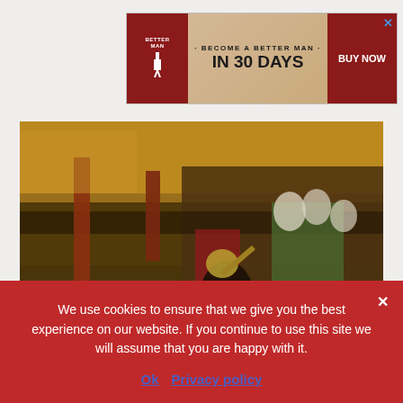[Figure (advertisement): Ad banner: 'Become a Better Man in 30 Days' book advertisement with red book cover and BUY NOW button]
[Figure (illustration): Classical painting of a Roman gladiator in an arena, with crowds of spectators in tiered seating watching the combat scene]
We use cookies to ensure that we give you the best experience on our website. If you continue to use this site we will assume that you are happy with it.
Ok   Privacy policy